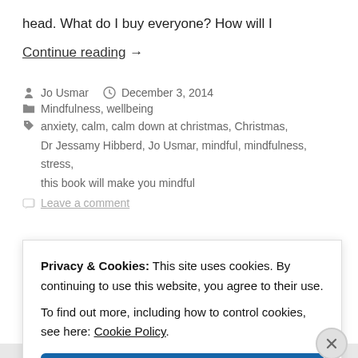head. What do I buy everyone? How will I
Continue reading →
Jo Usmar   December 3, 2014
Mindfulness, wellbeing
anxiety, calm, calm down at christmas, Christmas, Dr Jessamy Hibberd, Jo Usmar, mindful, mindfulness, stress, this book will make you mindful
Leave a comment
Privacy & Cookies: This site uses cookies. By continuing to use this website, you agree to their use. To find out more, including how to control cookies, see here: Cookie Policy
Close and accept